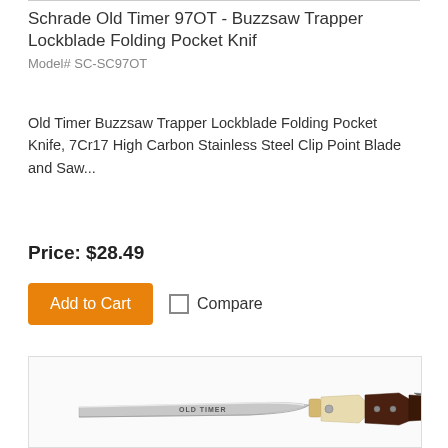Schrade Old Timer 97OT - Buzzsaw Trapper Lockblade Folding Pocket Knif
Model# SC-SC97OT
Old Timer Buzzsaw Trapper Lockblade Folding Pocket Knife, 7Cr17 High Carbon Stainless Steel Clip Point Blade and Saw...
Price: $28.49
Add to Cart  Compare
[Figure (photo): Photo of a folding pocket knife with a silver blade labeled OLD TIMER, cream and dark brown handle scales with rivets, shown open]